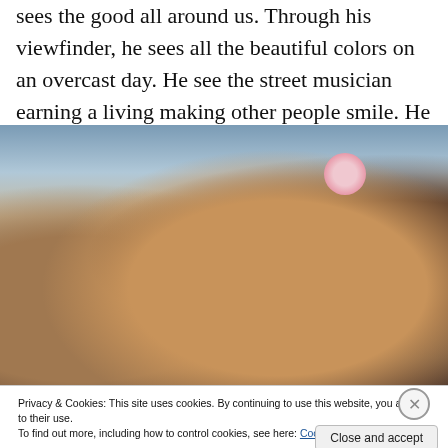sees the good all around us. Through his viewfinder, he sees all the beautiful colors on an overcast day. He see the street musician earning a living making other people smile. He sees a young woman falling in love.
[Figure (photo): Close-up photograph of a young woman and man facing each other in a crowded indoor market or fair. The woman is in focus in the center, with brown hair pulled back, wearing a pearl earring. The man faces her from the right side. Background shows a busy crowd and a pink circular logo/sign.]
Privacy & Cookies: This site uses cookies. By continuing to use this website, you agree to their use.
To find out more, including how to control cookies, see here: Cookie Policy